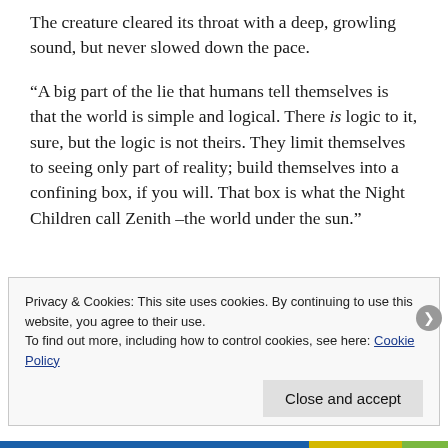The creature cleared its throat with a deep, growling sound, but never slowed down the pace.
“A big part of the lie that humans tell themselves is that the world is simple and logical. There is logic to it, sure, but the logic is not theirs. They limit themselves to seeing only part of reality; build themselves into a confining box, if you will. That box is what the Night Children call Zenith –the world under the sun.”
Privacy & Cookies: This site uses cookies. By continuing to use this website, you agree to their use.
To find out more, including how to control cookies, see here: Cookie Policy